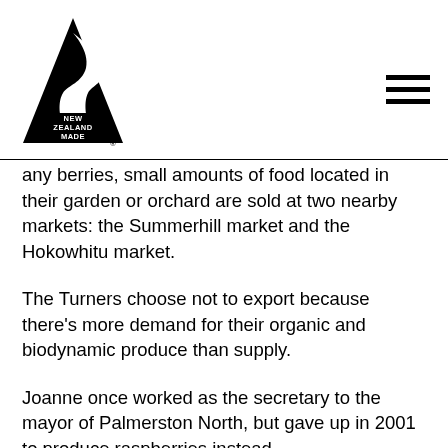[Figure (logo): New Zealand Made logo — black triangular shape with a stylized kiwi bird cutout, text 'NEW ZEALAND MADE' and registered trademark symbol]
any berries, small amounts of food located in their garden or orchard are sold at two nearby markets: the Summerhill market and the Hokowhitu market.
The Turners choose not to export because there's more demand for their organic and biodynamic produce than supply.
Joanne once worked as the secretary to the mayor of Palmerston North, but gave up in 2001 to produce raspberries instead.
After a few years, she completed a Diploma in Horticulture at Massey University, a decision she